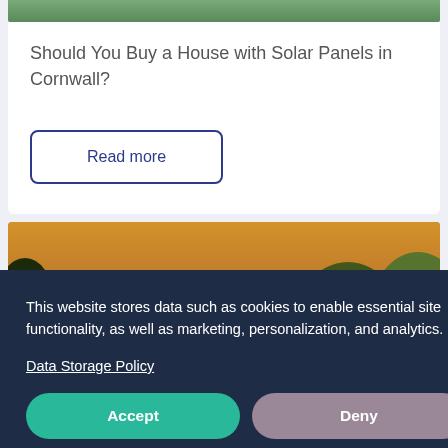[Figure (photo): Top strip of a countryside/waterside photo showing green grass and water]
Should You Buy a House with Solar Panels in Cornwall?
Read more
[Figure (photo): Stone cottage with chimneys surrounded by trees and garden with golden sunset sky]
This website stores data such as cookies to enable essential site functionality, as well as marketing, personalization, and analytics.
Data Storage Policy
Accept
Deny